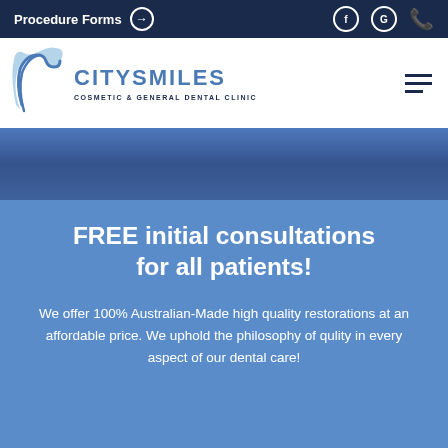Procedure Forms
[Figure (logo): City Smiles Cosmetic & General Dental Clinic logo with stylized C/W tooth icon in blue]
[Figure (photo): Dental clinic hero image strip with blue-toned background showing clinic staff]
FREE initial consultations for all patients!
We offer 100% Australian-Made high quality restorations at an affordable price. We uphold the philosophy of qulity in every aspect of our dental care!